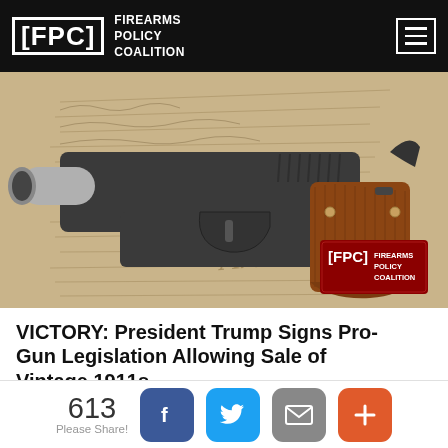FPC FIREARMS POLICY COALITION
[Figure (photo): A 1911-style semi-automatic pistol with wood grips resting on a handwritten historical document (appears to be the U.S. Constitution). The FPC Firearms Policy Coalition logo watermark is visible in the lower right corner of the image.]
VICTORY: President Trump Signs Pro-Gun Legislation Allowing Sale of Vintage 1911s
In a pro-2A victory, President Trump signed HR 2810, legislation that included language to mandate the sale of at least 8,000 surplus 1911s by the CMP.
Read More>>
613 Please Share!